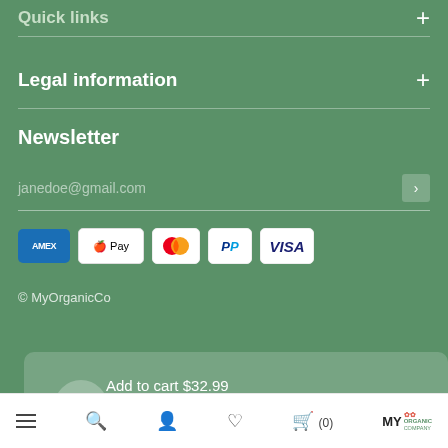Quick links
Legal information
Newsletter
janedoe@gmail.com
[Figure (other): Payment method icons: American Express, Apple Pay, Mastercard, PayPal, Visa]
© MyOrganicCo
Add to cart $32.99
MyOrganicCompany
Let us know if you have any questions! 😊
Navigation bar with menu, search, account, wishlist, cart (0), and MyOrganicCompany logo